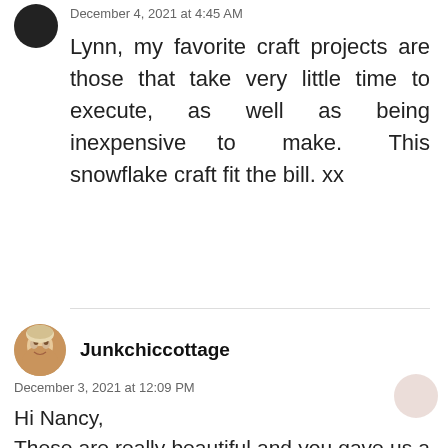December 4, 2021 at 4:45 AM
Lynn, my favorite craft projects are those that take very little time to execute, as well as being inexpensive to make. This snowflake craft fit the bill. xx
Junkchiccottage
December 3, 2021 at 12:09 PM
Hi Nancy,
These are really beautiful and you gave us a good tutorial. I love the white chalk paint star that is so